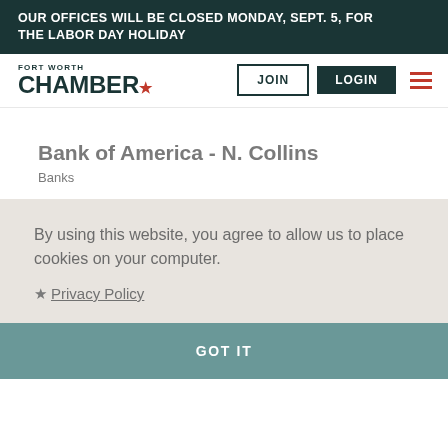OUR OFFICES WILL BE CLOSED MONDAY, SEPT. 5, FOR THE LABOR DAY HOLIDAY
[Figure (logo): Fort Worth Chamber logo with red star]
Bank of America - N. Collins
Banks
By using this website, you agree to allow us to place cookies on your computer.
★ Privacy Policy
GOT IT